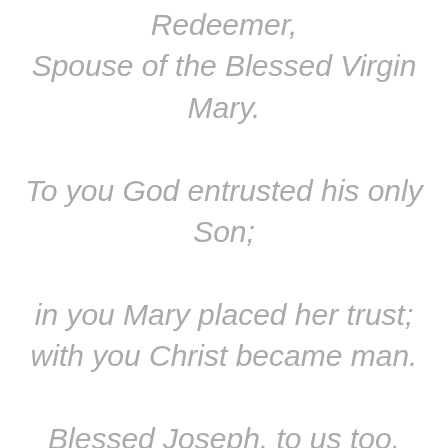Redeemer, Spouse of the Blessed Virgin Mary. To you God entrusted his only Son; in you Mary placed her trust; with you Christ became man. Blessed Joseph, to us too, show yourself a father